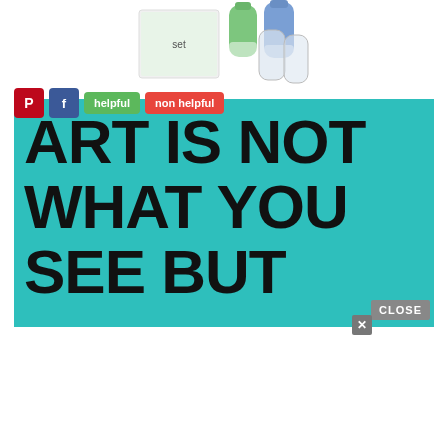[Figure (photo): Product photo of travel-size silicone bottles set (green, blue, clear) with packaging box, shown partially at top of page]
[Figure (screenshot): Social sharing bar with Pinterest (red P icon), Facebook (blue f icon), green 'helpful' button, and red 'non helpful' button]
[Figure (infographic): Teal/turquoise background banner with large bold black text reading 'ART IS NOT WHAT YOU SEE BUT']
CLOSE
[Figure (screenshot): Advertisement banner: '37 GENIUS AMAZON PRODUCTS THAT CAN BE USED BY ANYONE' with dark bottle image on left and 22 Words badge on right, yellow background]